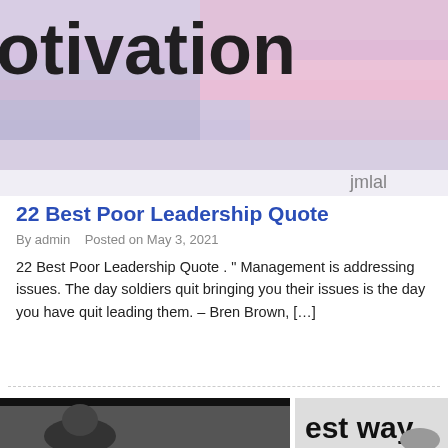[Figure (illustration): Watercolor background image with text 'motivation' visible in bold black on the left side, and watermark 'jmlal' on bottom right. Colors are lavender, pink, and blue washes.]
22 Best Poor Leadership Quote
By admin   Posted on May 3, 2021
22 Best Poor Leadership Quote . " Management is addressing issues. The day soldiers quit bringing you their issues is the day you have quit leading them. – Bren Brown, […]
[Figure (photo): Bottom portion of page showing a black and white photo on the left side (partially cropped person) and text 'est way' visible on a lighter background on the right.]